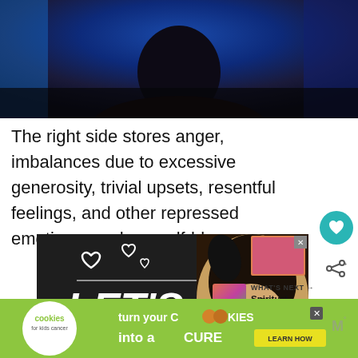[Figure (photo): Dark silhouette of a person's head and shoulders against a vivid blue background]
The right side stores anger, imbalances due to excessive generosity, trivial upsets, resentful feelings, and other repressed emotions, such as self-blame.
[Figure (photo): Advertisement showing a dog with heart graphics and 'LET'S' text on dark background]
[Figure (photo): Advertisement banner: cookies for kids cancer - turn your COOKIES into a CURE LEARN HOW]